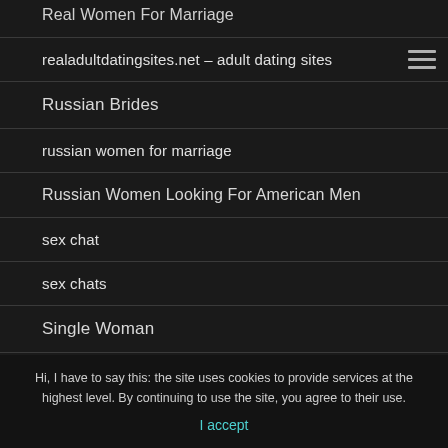Real Women For Marriage
realadultdatingsites.net – adult dating sites
Russian Brides
russian women for marriage
Russian Women Looking For American Men
sex chat
sex chats
Single Woman
Hi, I have to say this: the site uses cookies to provide services at the highest level. By continuing to use the site, you agree to their use.
I accept